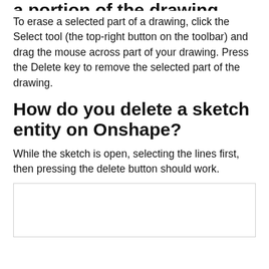a portion of the drawing.
To erase a selected part of a drawing, click the Select tool (the top-right button on the toolbar) and drag the mouse across part of your drawing. Press the Delete key to remove the selected part of the drawing.
How do you delete a sketch entity on Onshape?
While the sketch is open, selecting the lines first, then pressing the delete button should work.
[Figure (other): Empty white box with a thin border, likely a placeholder for an image.]